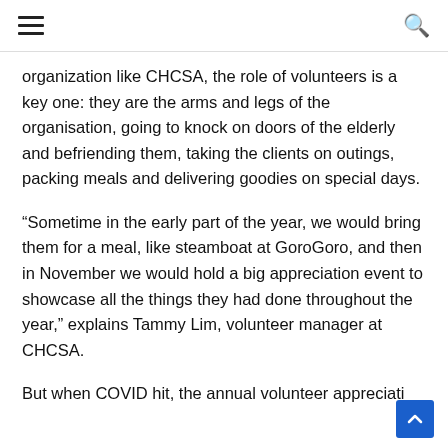≡  [hamburger menu] [search icon]
organization like CHCSA, the role of volunteers is a key one: they are the arms and legs of the organisation, going to knock on doors of the elderly and befriending them, taking the clients on outings, packing meals and delivering goodies on special days.
“Sometime in the early part of the year, we would bring them for a meal, like steamboat at GoroGoro, and then in November we would hold a big appreciation event to showcase all the things they had done throughout the year,” explains Tammy Lim, volunteer manager at CHCSA.
But when COVID hit, the annual volunteer appreciati…